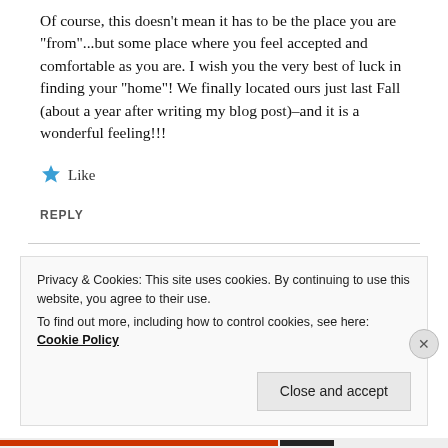Of course, this doesn't mean it has to be the place you are "from"...but some place where you feel accepted and comfortable as you are. I wish you the very best of luck in finding your "home"! We finally located ours just last Fall (about a year after writing my blog post)–and it is a wonderful feeling!!!
★ Like
REPLY
Privacy & Cookies: This site uses cookies. By continuing to use this website, you agree to their use.
To find out more, including how to control cookies, see here: Cookie Policy
Close and accept